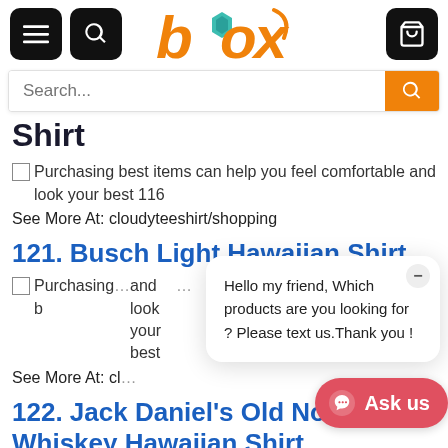Box shopping site header with navigation, logo, and search bar
Shirt
[Figure (photo): Placeholder image: Purchasing best items can help you feel comfortable and look your best 116]
See More At: cloudyteeshirt/shopping
121. Busch Light Hawaiian Shirt
[Figure (photo): Placeholder image: Purchasing best items can help you feel comfortable and look your best (partial)]
See More At: cl...
Hello my friend, Which products are you looking for ? Please text us.Thank you !
122. Jack Daniel's Old No 7 Whiskey Hawaiian Shirt